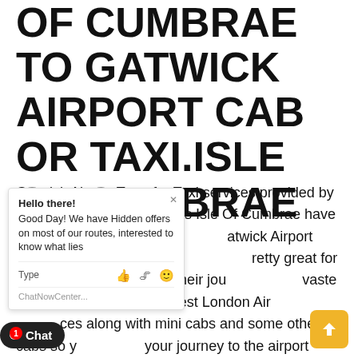OF CUMBRAE TO GATWICK AIRPORT CAB OR TAXI.ISLE OF CUMBRAE
Gatwick Airport Transfer Taxi services provided by Gatwick Minicab services is Isle Of Cumbrae have the task of giving people Gatwick Airport transfer all over UK , Transfer Pretty great for those who want to make their journey waste of time. We provide you best London Airport ces along with mini cabs and some other cabs so your journey to the airport comfortable. We pro and greet services to you various tation services to many airports like London, Cambridge, Bristol, Windsor Castle, and many airports